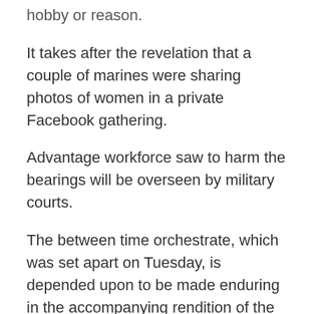hobby or reason.
It takes after the revelation that a couple of marines were sharing photos of women in a private Facebook gathering.
Advantage workforce saw to harm the bearings will be overseen by military courts.
The between time orchestrate, which was set apart on Tuesday, is depended upon to be made enduring in the accompanying rendition of the US Navy bearings.
Taken without consent
The photos began to appear on the people just Marines United assembling in January, when the essential US Marine infantry unit